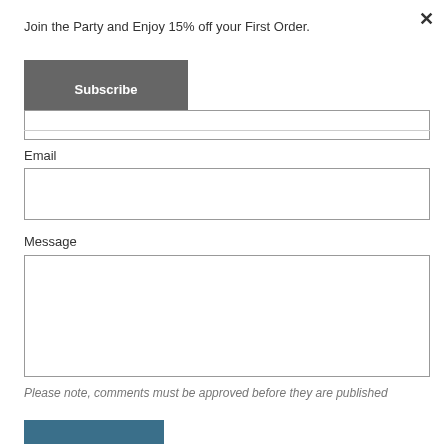×
Join the Party and Enjoy 15% off your First Order.
Subscribe
Email
Message
Please note, comments must be approved before they are published